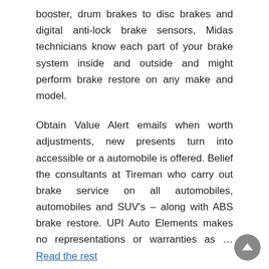booster, drum brakes to disc brakes and digital anti-lock brake sensors, Midas technicians know each part of your brake system inside and outside and might perform brake restore on any make and model.
Obtain Value Alert emails when worth adjustments, new presents turn into accessible or a automobile is offered. Belief the consultants at Tireman who carry out brake service on all automobiles, automobiles and SUV's – along with ABS brake restore. UPI Auto Elements makes no representations or warranties as … Read the rest
Auto and Parts
3 Tips For Auto Parts Store of Toyota Auto News Today You Should Use